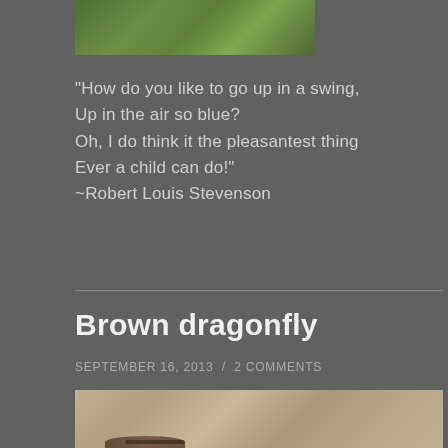[Figure (photo): Partial photo at top showing outdoor greenery/landscape scene]
“How do you like to go up in a swing,
Up in the air so blue?
Oh, I do think it the pleasantest thing
Ever a child can do!”
~Robert Louis Stevenson
Brown dragonfly
SEPTEMBER 16, 2013 / 2 COMMENTS
[Figure (photo): Partial photo at bottom showing a brown dragonfly resting on a textured stone or bark surface]